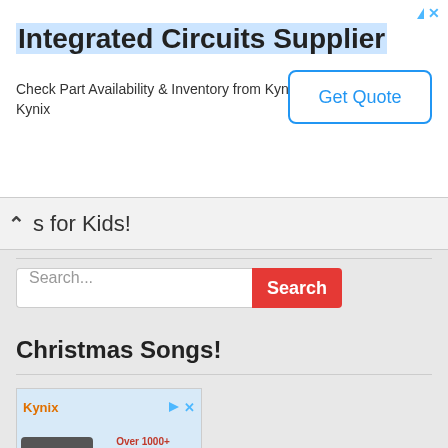[Figure (screenshot): Advertisement banner for Integrated Circuits Supplier - Kynix, with Get Quote button]
s for Kids!
Search...
Christmas Songs!
[Figure (screenshot): Small Kynix advertisement with chip image and text: Over 1000+ Integrated circuit chip products are in stock and available now. Shows 'Integrated' text at bottom.]